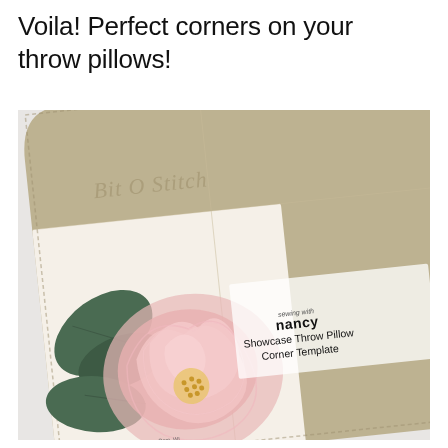Voila!  Perfect corners on your throw pillows!
[Figure (photo): A photograph showing a 'Sewing with Nancy Showcase Throw Pillow Corner Template' — a tan/khaki textured plastic or cardstock template with a curved corner, overlaid on a fabric piece featuring a large pink floral (rose/peony) appliqué with dark green leaves. The template has a cursive watermark logo and printed text reading 'sewing with nancy Showcase Throw Pillow Corner Template'. The background is light gray/white.]